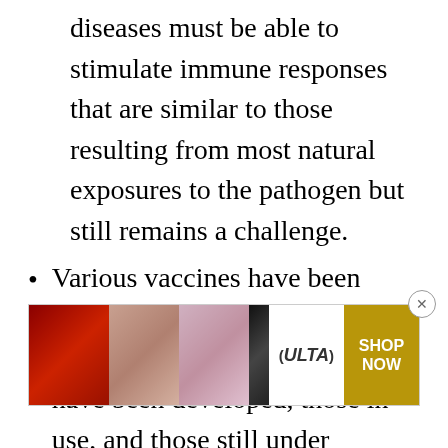diseases must be able to stimulate immune responses that are similar to those resulting from most natural exposures to the pathogen but still remains a challenge.
Various vaccines have been designed and here is a detailed approach to how these vaccines have been developed, those in use, and those still under experimentation.
Major advances in understanding the complexities of the interaction of pathogens or microbes with the human host...
developments and advances in recent
[Figure (photo): ULTA beauty advertisement banner showing makeup products and models with text SHOP NOW]